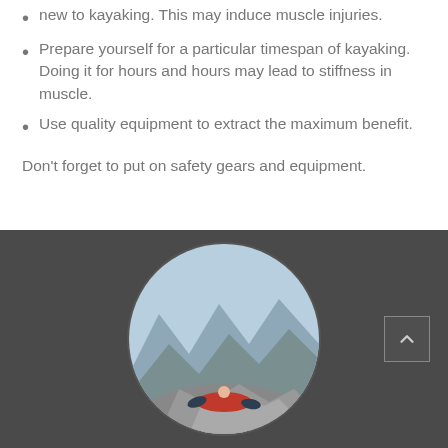new to kayaking. This may induce muscle injuries.
Prepare yourself for a particular timespan of kayaking. Doing it for hours and hours may lead to stiffness in muscle.
Use quality equipment to extract the maximum benefit.
Don't forget to put on safety gears and equipment.
[Figure (photo): Person lying on a rocky mountain peak in a circle-cropped photo, displayed on a dark background with a scroll-to-top button in the bottom right.]